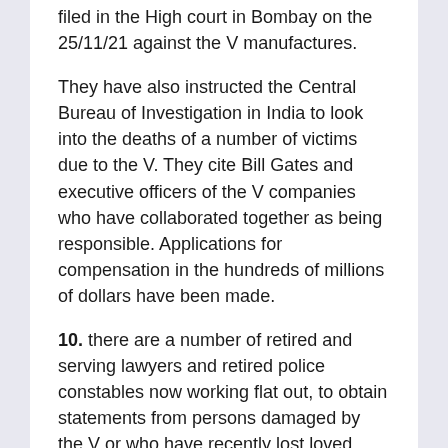filed in the High court in Bombay on the 25/11/21 against the V manufactures.
They have also instructed the Central Bureau of Investigation in India to look into the deaths of a number of victims due to the V. They cite Bill Gates and executive officers of the V companies who have collaborated together as being responsible. Applications for compensation in the hundreds of millions of dollars have been made.
10. there are a number of retired and serving lawyers and retired police constables now working flat out, to obtain statements from persons damaged by the V or who have recently lost loved ones post-vaccination.
11. the sheer volume of victims and relatives coming